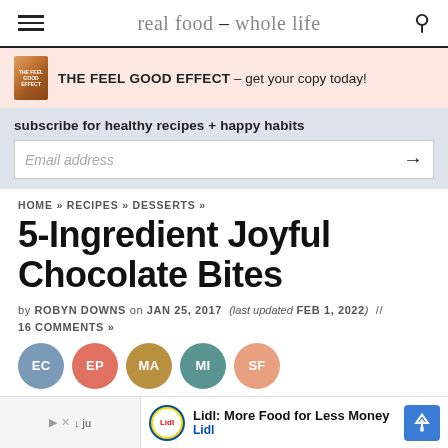real food – whole life
THE FEEL GOOD EFFECT – get your copy today!
subscribe for healthy recipes + happy habits
Email address
HOME » RECIPES » DESSERTS »
5-Ingredient Joyful Chocolate Bites
by ROBYN DOWNS on JAN 25, 2017 (last updated FEB 1, 2022) // 16 COMMENTS »
EC EP MA MI SF
Lidl: More Food for Less Money Lidl